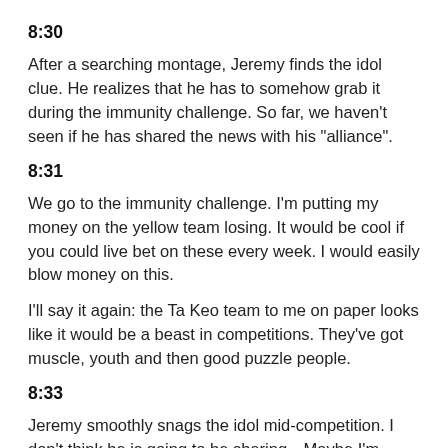8:30
After a searching montage, Jeremy finds the idol clue. He realizes that he has to somehow grab it during the immunity challenge. So far, we haven't seen if he has shared the news with his “alliance”.
8:31
We go to the immunity challenge. I’m putting my money on the yellow team losing. It would be cool if you could live bet on these every week. I would easily blow money on this.
I’ll say it again: the Ta Keo team to me on paper looks like it would be a beast in competitions. They’ve got muscle, youth and then good puzzle people.
8:33
Jeremy smoothly snags the idol mid-competition. I don’t think he is going to be sharing…Maybe I’m wrong, but I